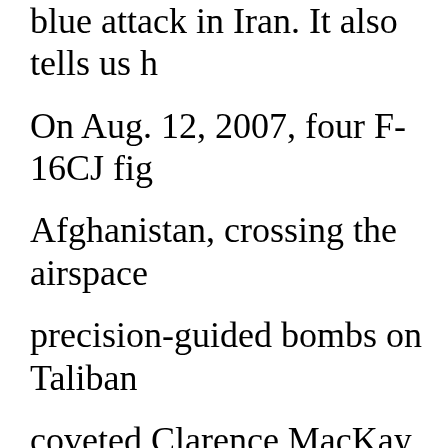blue attack in Iran. It also tells us h On Aug. 12, 2007, four F-16CJ fig Afghanistan, crossing the airspace precision-guided bombs on Taliban coveted Clarence MacKay Trophy flight" of the year. The secret mission had never befor were allotted a two-minute window non-stop mission, which took 13 ae to Los Angeles and back. The mission was a success, accord coalition ground forces to "condu